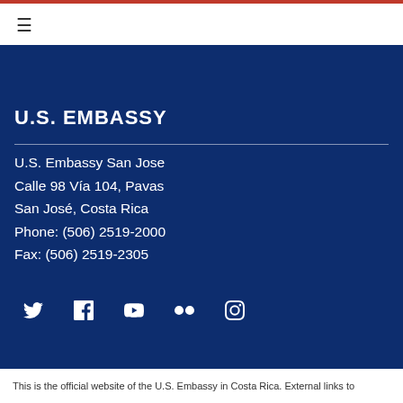[Figure (other): Hamburger menu icon (three horizontal lines) in top navigation bar]
U.S. EMBASSY
U.S. Embassy San Jose
Calle 98 Vía 104, Pavas
San José, Costa Rica
Phone: (506) 2519-2000
Fax: (506) 2519-2305
[Figure (other): Row of social media icons: Twitter, Facebook, YouTube, Flickr, Instagram]
This is the official website of the U.S. Embassy in Costa Rica. External links to